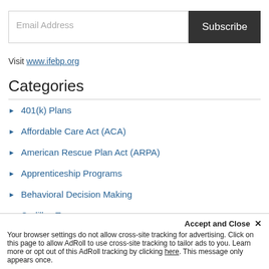Email Address
Subscribe
Visit www.ifebp.org
Categories
401(k) Plans
Affordable Care Act (ACA)
American Rescue Plan Act (ARPA)
Apprenticeship Programs
Behavioral Decision Making
Cadillac Tax
Canada
Accept and Close ✕
Your browser settings do not allow cross-site tracking for advertising. Click on this page to allow AdRoll to use cross-site tracking to tailor ads to you. Learn more or opt out of this AdRoll tracking by clicking here. This message only appears once.